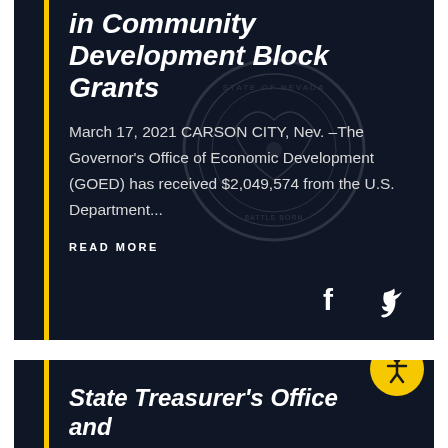in Community Development Block Grants
March 17, 2021 CARSON CITY, Nev. –The Governor's Office of Economic Development (GOED) has received $2,049,574 from the U.S. Department...
READ MORE
State Treasurer's Office and